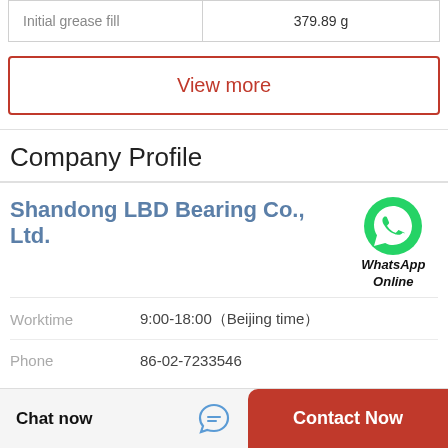| Property | Value |
| --- | --- |
| Initial grease fill | 379.89 g |
View more
Company Profile
Shandong LBD Bearing Co., Ltd.
Worktime
9:00-18:00（Beijing time）
Phone
86-02-7233546
View more
Chat now
Contact Now